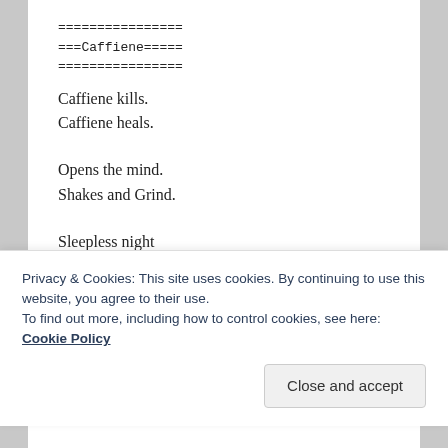================
===Caffiene=====
================
Caffiene kills.
Caffiene heals.
Opens the mind.
Shakes and Grind.
Sleepless night
filled with fright
You know your hooked.
Privacy & Cookies: This site uses cookies. By continuing to use this website, you agree to their use.
To find out more, including how to control cookies, see here: Cookie Policy
Close and accept